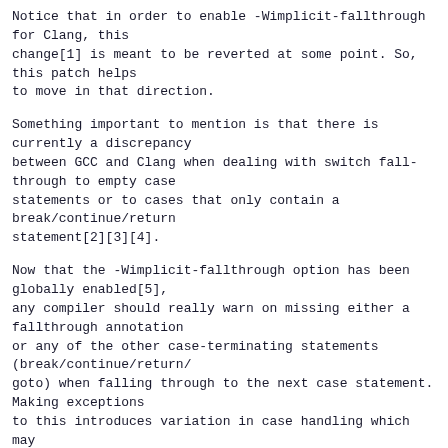Notice that in order to enable -Wimplicit-fallthrough for Clang, this change[1] is meant to be reverted at some point. So, this patch helps to move in that direction.
Something important to mention is that there is currently a discrepancy between GCC and Clang when dealing with switch fall-through to empty case statements or to cases that only contain a break/continue/return statement[2][3][4].
Now that the -Wimplicit-fallthrough option has been globally enabled[5], any compiler should really warn on missing either a fallthrough annotation or any of the other case-terminating statements (break/continue/return/ goto) when falling through to the next case statement. Making exceptions to this introduces variation in case handling which may continue to lead to bugs, misunderstandings, and a general lack of robustness. The point of enabling options like -Wimplicit-fallthrough is to prevent human error and aid developers in spotting bugs before their code is even built/